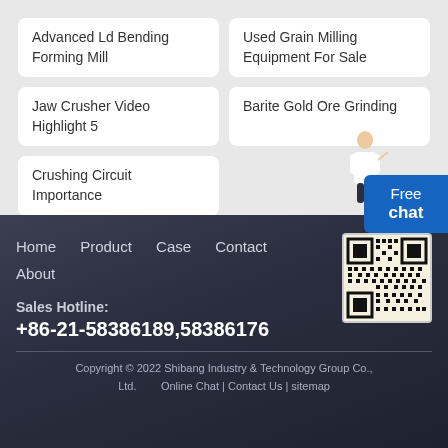Advanced Ld Bending Forming Mill
Used Grain Milling Equipment For Sale
Jaw Crusher Video Highlight 5
Barite Gold Ore Grinding
Crushing Circuit Importance
Home    Product    Case    Contact    About
Sales Hotline:
+86-21-58386189,58386176
Copyright © 2022 Shibang Industry & Technology Group Co., Ltd.    Online Chat | Contact Us | sitemap